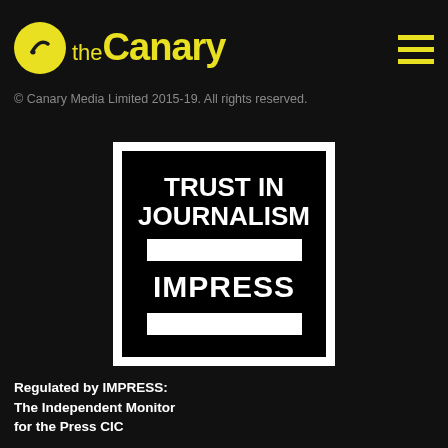the Canary
© Canary Media Limited 2015-19. All rights reserved.
[Figure (logo): IMPRESS Trust in Journalism badge — black square with white border containing bold white text 'TRUST IN JOURNALISM', a white horizontal bar, bold white text 'IMPRESS', and another white horizontal bar]
Regulated by IMPRESS: The Independent Monitor for the Press CIC